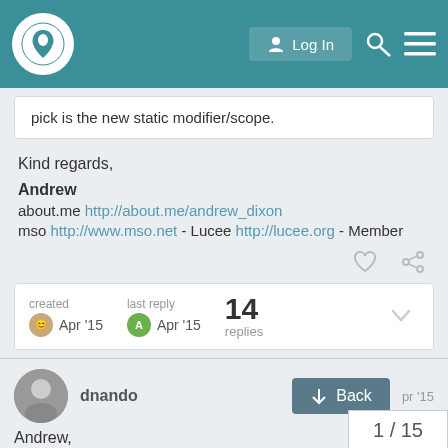Log In [navigation bar with logo, search, menu]
pick is the new static modifier/scope.
Kind regards,
Andrew
about.me http://about.me/andrew_dixon
mso http://www.mso.net - Lucee http://lucee.org - Member
created Apr '15   last reply Apr '15   14 replies
dnando
Back   1 / 15
Andrew,